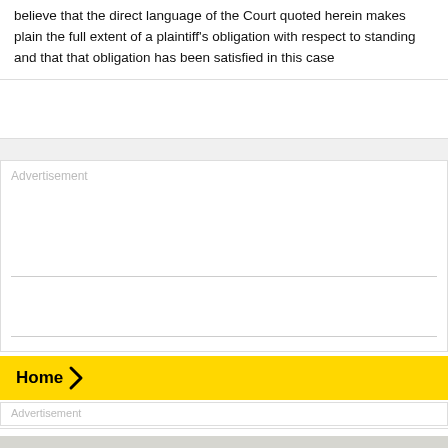believe that the direct language of the Court quoted herein makes plain the full extent of a plaintiff's obligation with respect to standing and that that obligation has been satisfied in this case
[Figure (other): Advertisement placeholder block with two horizontal divider lines inside a bordered rectangle]
Home
[Figure (other): Advertisement placeholder strip at bottom]
[Figure (other): Thin strip and gray footer area at bottom of page]